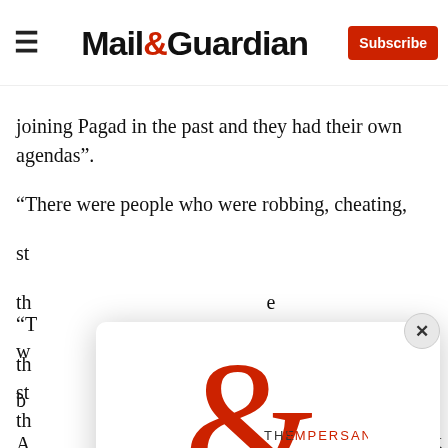Mail&Guardian — Subscribe
joining Pagad in the past and they had their own agendas”.
“There were people who were robbing, cheating, st... th... e w... b...
“... th... st... th...
A... ru... x
[Figure (logo): The Ampersand newsletter logo — a large red ampersand with 'THE AMPERSAND' text]
Stay informed. Every weekday.
E-mail Address
Signup now